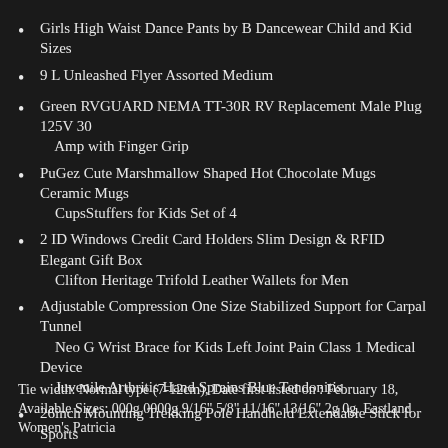Girls High Waist Dance Pants by B Dancewear Child and Kid Sizes
9 L Unleashed Flyer Assorted Medium
Green RVGUARD NEMA TT-30R RV Replacement Male Plug 125V 30 Amp with Finger Grip
PuGez Cute Marshmallow Shaped Hot Chocolate Mugs Ceramic Mugs CupsStuffers for Kids Set of 4
2 ID Windows Credit Card Holders Slim Design & RFID Elegant Gift Box Clifton Heritage Trifold Leather Wallets for Men
Adjustable Compression One Size Stabilized Support for Carpal Tunnel Neo G Wrist Brace for Kids Left Joint Pain Class 1 Medical Device Juvenile Arthritis Hand Sprains Blue Tendonitis
26inch Mounting Trekking Pole Handheld Extendable Stick for Sports Outdoor Accessories US-Delivering
Tie width: Normal type (7-12cm), Date first listed on : February 18, Available Sizes: 000g 0000g 9/16" 5/8" 11/16" 13/16" 2g 0g. Eastland Women's Patricia